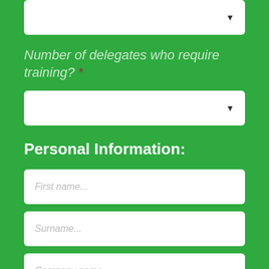[Figure (other): Dropdown select input box at top of page]
Number of delegates who require training? *
[Figure (other): Dropdown select input box for number of delegates]
Personal Information:
[Figure (other): Text input field with placeholder 'First name...']
[Figure (other): Text input field with placeholder 'Surname...']
[Figure (other): Text input field with placeholder 'Company name...']
[Figure (other): Partial text input field at bottom of page]